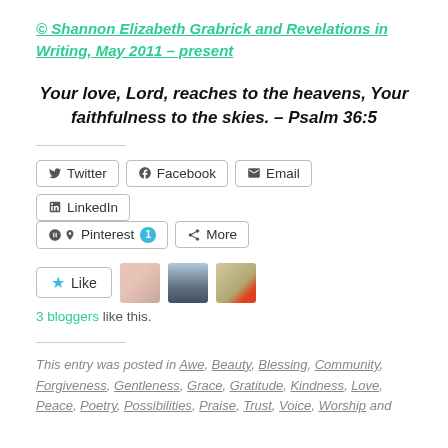© Shannon Elizabeth Grabrick and Revelations in Writing, May 2011 – present
Your love, Lord, reaches to the heavens, Your faithfulness to the skies.  – Psalm 36:5
[Figure (other): Social sharing buttons: Twitter, Facebook, Email, LinkedIn, Pinterest (1), More]
[Figure (other): Like button with star icon and 3 blogger avatar thumbnails]
3 bloggers like this.
This entry was posted in Awe, Beauty, Blessing, Community, Forgiveness, Gentleness, Grace, Gratitude, Kindness, Love, Peace, Poetry, Possibilities, Praise, Trust, Voice, Worship and